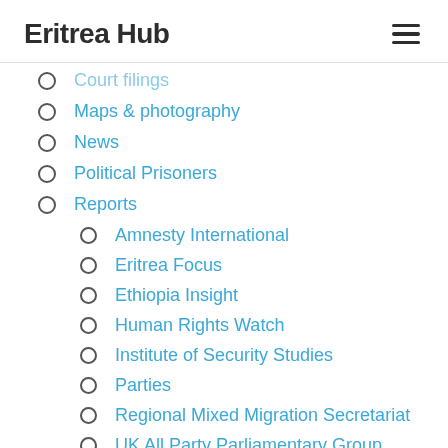Eritrea Hub
Court filings
Maps & photography
News
Political Prisoners
Reports
Amnesty International
Eritrea Focus
Ethiopia Insight
Human Rights Watch
Institute of Security Studies
Parties
Regional Mixed Migration Secretariat
UK All Party Parliamentary Group
UN Ocha
UNHCR
United Nations Human Rights Commission
United Nations Monitoring Group